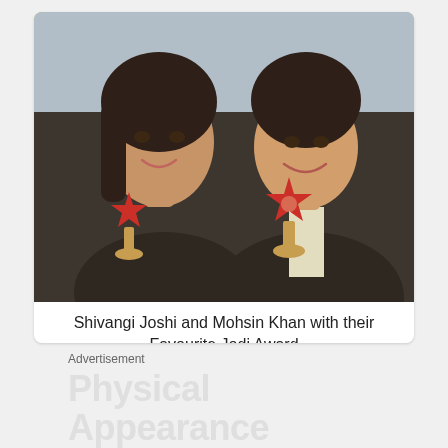[Figure (photo): Selfie photo of Shivangi Joshi (woman in black dress) and Mohsin Khan (man in suit) holding star-shaped awards trophies]
Shivangi Joshi and Mohsin Khan with their Favourite Jodi Award
Advertisement
Physical Appearance